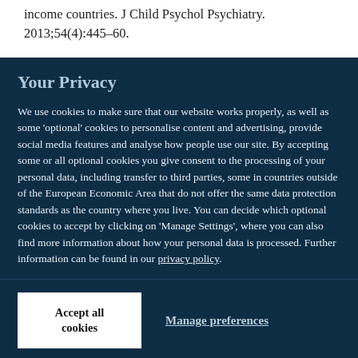income countries. J Child Psychol Psychiatry. 2013;54(4):445–60.
Your Privacy
We use cookies to make sure that our website works properly, as well as some 'optional' cookies to personalise content and advertising, provide social media features and analyse how people use our site. By accepting some or all optional cookies you give consent to the processing of your personal data, including transfer to third parties, some in countries outside of the European Economic Area that do not offer the same data protection standards as the country where you live. You can decide which optional cookies to accept by clicking on 'Manage Settings', where you can also find more information about how your personal data is processed. Further information can be found in our privacy policy.
Accept all cookies
Manage preferences